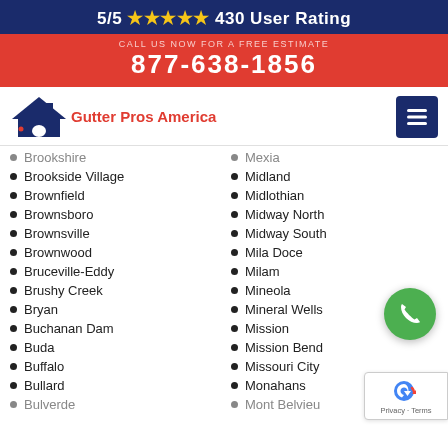5/5 ★★★★★ 430 User Rating
877-638-1856
[Figure (logo): Gutter Pros America logo with house/roof icon]
Brookshire
Mexia
Brookside Village
Midland
Brownfield
Midlothian
Brownsboro
Midway North
Brownsville
Midway South
Brownwood
Mila Doce
Bruceville-Eddy
Milam
Brushy Creek
Mineola
Bryan
Mineral Wells
Buchanan Dam
Mission
Buda
Mission Bend
Buffalo
Missouri City
Bullard
Monahans
Bulverde
Mont Belvieu